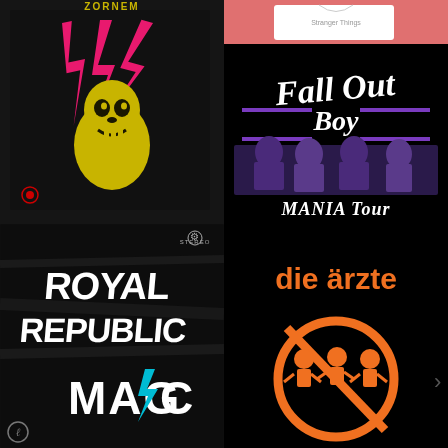[Figure (illustration): Dark album cover with yellow skull-like figure and pink lightning bolts, text ZORNEM at top in yellow]
[Figure (illustration): Top portion: pink/red background with white t-shirt item. Bottom: Fall Out Boy MANIA TOUR poster, black background, purple and white text, band photo in purple tones]
[Figure (illustration): Royal Republic album cover, black textured background, white grunge-style logo text, MAGIC text at bottom with lightning bolt replacing I]
[Figure (illustration): die ärzte logo in orange on black background, circular no-symbol with cartoon figures crossed out]